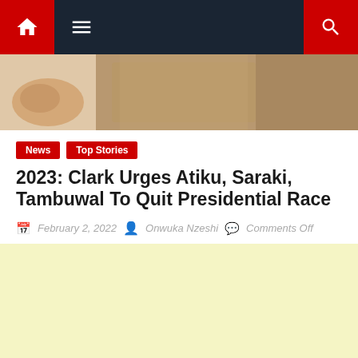Navigation bar with home, menu, and search icons
[Figure (photo): Close-up photo of a person in a tan/khaki jacket, partial view of hands and torso]
News | Top Stories
2023: Clark Urges Atiku, Saraki, Tambuwal To Quit Presidential Race
February 2, 2022   Onwuka Nzeshi   Comments Off